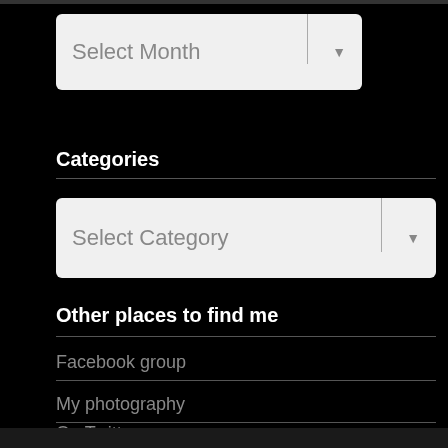[Figure (screenshot): Dropdown widget labeled 'Select Month' with arrow indicator on a black background]
Categories
[Figure (screenshot): Dropdown widget labeled 'Select Category' with arrow indicator on a black background]
Other places to find me
Facebook group
My photography
On Twitter